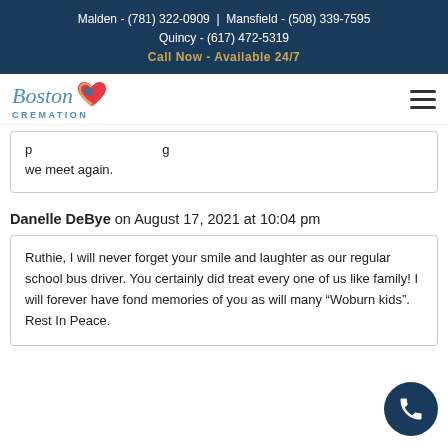Malden - (781) 322-0909 | Mansfield - (508) 339-7595
Quincy - (617) 472-5319
Call Now - Available 24/7
[Figure (logo): Boston Cremation logo with colorful heart icon]
...p...g we meet again.
Danelle DeBye on August 17, 2021 at 10:04 pm
Ruthie, I will never forget your smile and laughter as our regular school bus driver. You certainly did treat every one of us like family! I will forever have fond memories of you as will many “Woburn kids”. Rest In Peace.